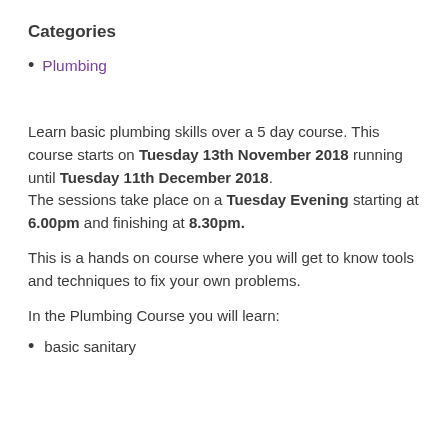Categories
Plumbing
Learn basic plumbing skills over a 5 day course. This course starts on Tuesday 13th November 2018 running until Tuesday 11th December 2018.
The sessions take place on a Tuesday Evening starting at 6.00pm and finishing at 8.30pm.
This is a hands on course where you will get to know tools and techniques to fix your own problems.
In the Plumbing Course you will learn:
basic sanitary